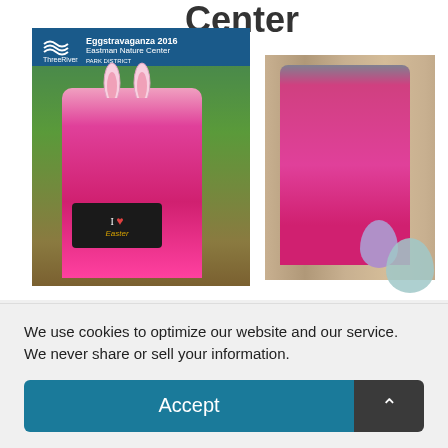[Figure (photo): Screenshot of a website page showing Eggstravaganza 2016 at Eastman Nature Center event photos. Left large photo: ThreeRivers Park District brochure with a toddler in a pink jacket and bunny ears holding a sign 'I Love Easter' among white flowers. Right photo: same toddler in pink jacket holding a white Easter basket outdoors. Purple and teal Easter egg decorations overlaid at bottom right. Partial page title 'Eastman Nature Center' visible at top right.]
We use cookies to optimize our website and our service. We never share or sell your information.